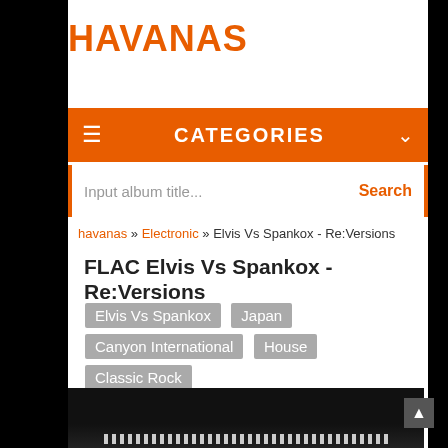HAVANAS
CATEGORIES
Input album title...
havanas » Electronic » Elvis Vs Spankox - Re:Versions
FLAC Elvis Vs Spankox - Re:Versions
Elvis Vs Spankox
Japan
Canyon International
House
Classic Rock
2008
[Figure (photo): Dark album art image with dots pattern at the bottom]